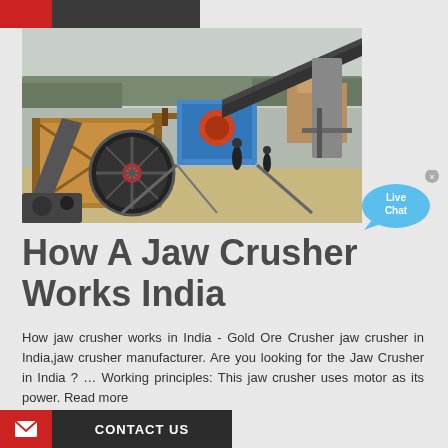[Figure (photo): Outdoor industrial jaw crusher installation in India, showing heavy machinery with large flywheel, conveyor belts, yellow metal framework structures, and workers on site with trees and hazy sky in background.]
How A Jaw Crusher Works India
How jaw crusher works in India - Gold Ore Crusher jaw crusher in India,jaw crusher manufacturer. Are you looking for the Jaw Crusher in India ? … Working principles: This jaw crusher uses motor as its power. Read more
CONTACT US